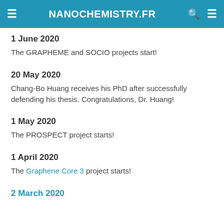NANOCHEMISTRY.FR
1 June 2020
The GRAPHEME and SOCIO projects start!
20 May 2020
Chang-Bo Huang receives his PhD after successfully defending his thesis. Congratulations, Dr. Huang!
1 May 2020
The PROSPECT project starts!
1 April 2020
The Graphene Core 3 project starts!
2 March 2020